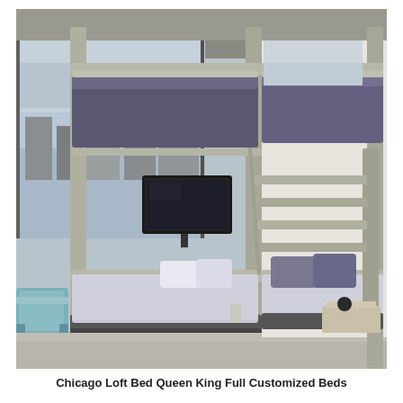[Figure (photo): Interior photo of a loft-style room with large wooden bunk beds. The lower bunk appears to be a queen or king size, with grey bedding and pillows. A flat-screen TV is mounted between the bunk bed posts facing the lower bunk. Large floor-to-ceiling windows reveal a city skyline. A teal/blue chair is visible on the left. On the right side, a second bunk bed with grey bedding and a wooden ladder is visible. The ceiling is concrete and the floor is carpeted.]
Chicago Loft Bed Queen King Full Customized Beds